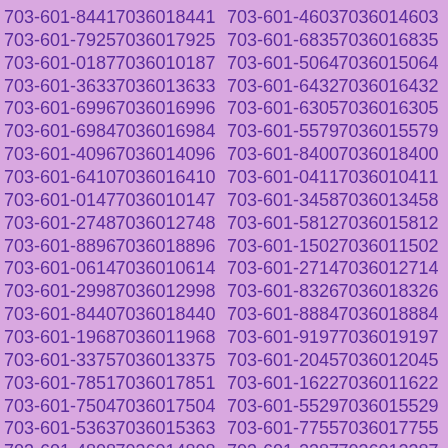703-601-8441 7036018441 703-601-4603 7036014603 703-601-7925 7036017925 703-601-6835 7036016835 703-601-0187 7036010187 703-601-5064 7036015064 703-601-3633 7036013633 703-601-6432 7036016432 703-601-6996 7036016996 703-601-6305 7036016305 703-601-6984 7036016984 703-601-5579 7036015579 703-601-4096 7036014096 703-601-8400 7036018400 703-601-6410 7036016410 703-601-0411 7036010411 703-601-0147 7036010147 703-601-3458 7036013458 703-601-2748 7036012748 703-601-5812 7036015812 703-601-8896 7036018896 703-601-1502 7036011502 703-601-0614 7036010614 703-601-2714 7036012714 703-601-2998 7036012998 703-601-8326 7036018326 703-601-8440 7036018440 703-601-8884 7036018884 703-601-1968 7036011968 703-601-9197 7036019197 703-601-3375 7036013375 703-601-2045 7036012045 703-601-7851 7036017851 703-601-1622 7036011622 703-601-7504 7036017504 703-601-5529 7036015529 703-601-5363 7036015363 703-601-7755 7036017755 703-601-4808 7036014808 703-601-2387 7036012387 703-601-9291 7036019291 703-601-4979 7036014979